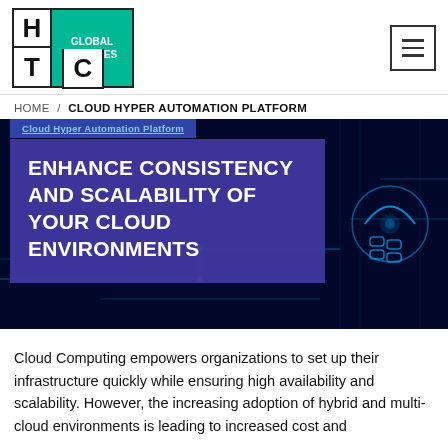[Figure (logo): HTC Global Services logo: grid with H, T, C letters and green GLOBAL SERVICES block]
HOME / CLOUD HYPER AUTOMATION PLATFORM
[Figure (photo): Dark blue tech/circuit board hero banner with neon blue circuit lines and a glowing padlock/shield icon on the right side. Overlaid with purple box containing headline and blue tab label 'Cloud Hyper Automation Platform'.]
ENHANCE CONSISTENCY AND SCALABILITY OF YOUR CLOUD ENVIRONMENTS
Cloud Computing empowers organizations to set up their infrastructure quickly while ensuring high availability and scalability. However, the increasing adoption of hybrid and multi-cloud environments is leading to increased cost and